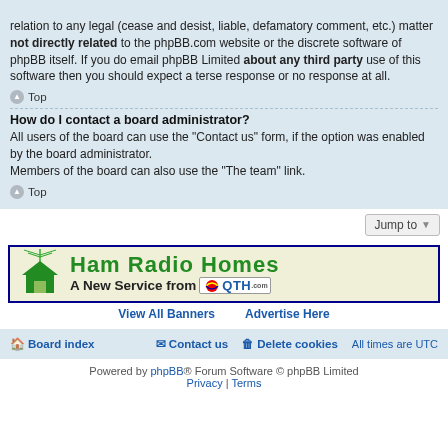relation to any legal (cease and desist, liable, defamatory comment, etc.) matter not directly related to the phpBB.com website or the discrete software of phpBB itself. If you do email phpBB Limited about any third party use of this software then you should expect a terse response or no response at all.
Top
How do I contact a board administrator?
All users of the board can use the “Contact us” form, if the option was enabled by the board administrator.
Members of the board can also use the “The team” link.
Top
[Figure (screenshot): Ham Radio Homes advertisement banner - A New Service from QTH.com]
View All Banners   Advertise Here
Board index   Contact us   Delete cookies   All times are UTC
Powered by phpBB® Forum Software © phpBB Limited Privacy | Terms